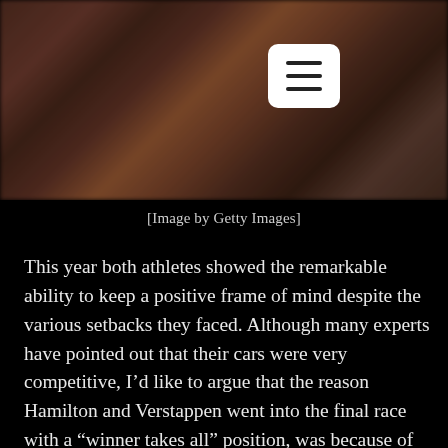[Figure (photo): Blurred background photo of athletes or racing event, with reddish-brown tones]
[Image by Getty Images]
This year both athletes showed the remarkable ability to keep a positive frame of mind despite the various setbacks they faced. Although many experts have pointed out that their cars were very competitive, I'd like to argue that the reason Hamilton and Verstappen went into the final race with a “winner takes all” position, was because of their equally determined mindsets – neither one was ever discouraged by the other’s win or their own failures